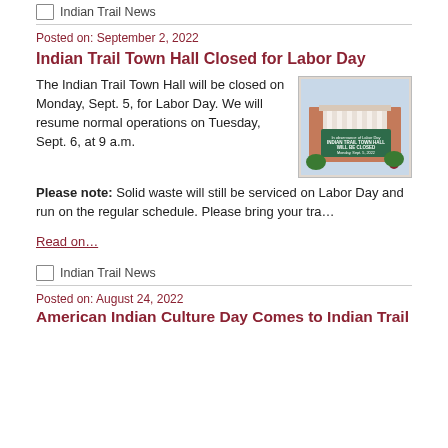Indian Trail News
Posted on: September 2, 2022
Indian Trail Town Hall Closed for Labor Day
The Indian Trail Town Hall will be closed on Monday, Sept. 5, for Labor Day. We will resume normal operations on Tuesday, Sept. 6, at 9 a.m.
[Figure (photo): Photo of Indian Trail Town Hall with a sign reading 'In observance of Labor Day INDIAN TRAIL TOWN HALL WILL BE CLOSED Monday, Sept. 5, 2022']
Please note: Solid waste will still be serviced on Labor Day and run on the regular schedule. Please bring your tra…
Read on…
Indian Trail News
Posted on: August 24, 2022
American Indian Culture Day Comes to Indian Trail